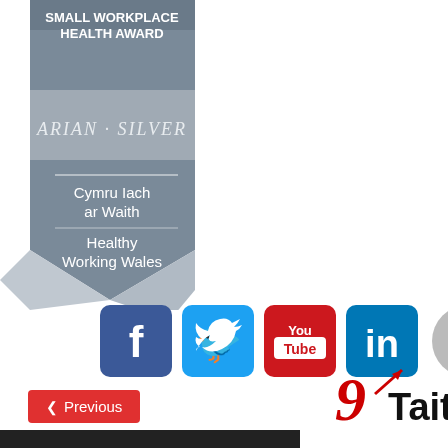[Figure (logo): Small Workplace Health Award - Arian Silver - Cymru Iach ar Waith / Healthy Working Wales badge/ribbon logo in grey tones]
[Figure (logo): Social media icons: Facebook, Twitter, YouTube, LinkedIn]
[Figure (logo): Taith logo with red stylized 9 and arrow, bold black text 'Taith']
Previous